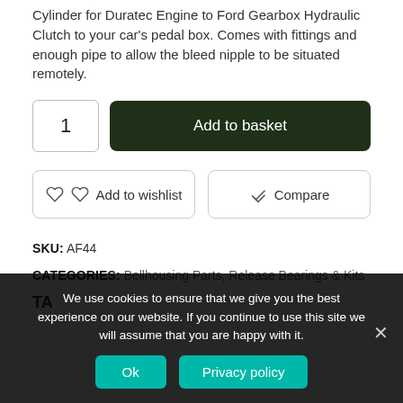Cylinder for Duratec Engine to Ford Gearbox Hydraulic Clutch to your car's pedal box. Comes with fittings and enough pipe to allow the bleed nipple to be situated remotely.
1 | Add to basket
Add to wishlist | Compare
SKU: AF44
CATEGORIES: Bellhousing Parts, Release Bearings & Kits
TAG:
We use cookies to ensure that we give you the best experience on our website. If you continue to use this site we will assume that you are happy with it.
Ok | Privacy policy